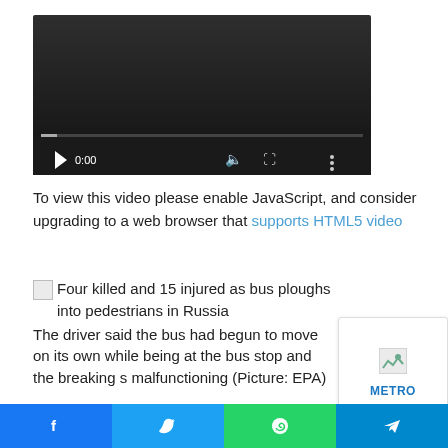[Figure (screenshot): Video player UI showing dark background, play button, time display 0:00, volume icon, fullscreen icon, and options icon with a progress bar at the bottom]
To view this video please enable JavaScript, and consider upgrading to a web browser that supports HTML5 video
Four killed and 15 injured as bus ploughs into pedestrians in Russia
The driver said the bus had begun to move on its own while being at the bus stop and the breaking system was malfunctioning (Picture: EPA)
[Figure (screenshot): Small popup card with a broken image placeholder and METRO label in blue]
[Figure (screenshot): Social share bar with Facebook, Twitter, WhatsApp, and Telegram buttons]